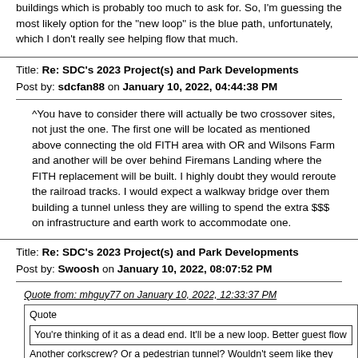buildings which is probably too much to ask for.  So, I'm guessing the most likely option for the "new loop" is the blue path, unfortunately, which I don't really see helping flow that much.
Title: Re: SDC's 2023 Project(s) and Park Developments
Post by: sdcfan88 on January 10, 2022, 04:44:38 PM
^You have to consider there will actually be two crossover sites, not just the one. The first one will be located as mentioned above connecting the old FITH area with OR and Wilsons Farm and another will be over behind Firemans Landing where the FITH replacement will be built. I highly doubt they would reroute the railroad tracks. I would expect a walkway bridge over them building a tunnel unless they are willing to spend the extra $$$ on infrastructure and earth work to accommodate one.
Title: Re: SDC's 2023 Project(s) and Park Developments
Post by: Swoosh on January 10, 2022, 08:07:52 PM
Quote from: mhguy77 on January 10, 2022, 12:33:37 PM
Quote
You're thinking of it as a dead end.  It'll be a new loop.  Better guest flow
Another corkscrew?  Or a pedestrian tunnel?  Wouldn't seem like they would want to man another crossing.
Think of what they do at Dollywood.  The crossing would be